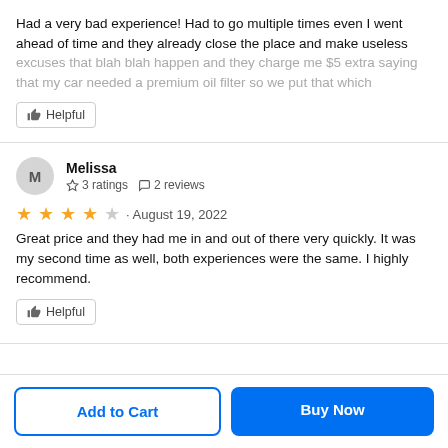Had a very bad experience! Had to go multiple times even I went ahead of time and they already close the place and make useless excuses that blah blah happen and they charge me $5 extra saying that my car needed a premium oil filter so we put that which
Helpful
Melissa
3 ratings  2 reviews
★★★★☆ · August 19, 2022
Great price and they had me in and out of there very quickly. It was my second time as well, both experiences were the same. I highly recommend.
Helpful
Add to Cart
Buy Now